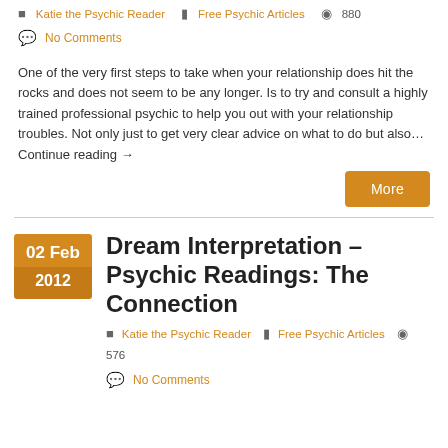Katie the Psychic Reader   Free Psychic Articles   [view count]
No Comments
One of the very first steps to take when your relationship does hit the rocks and does not seem to be any longer. Is to try and consult a highly trained professional psychic to help you out with your relationship troubles. Not only just to get very clear advice on what to do but also… Continue reading →
More
Dream Interpretation – Psychic Readings: The Connection
Katie the Psychic Reader   Free Psychic Articles   576
No Comments